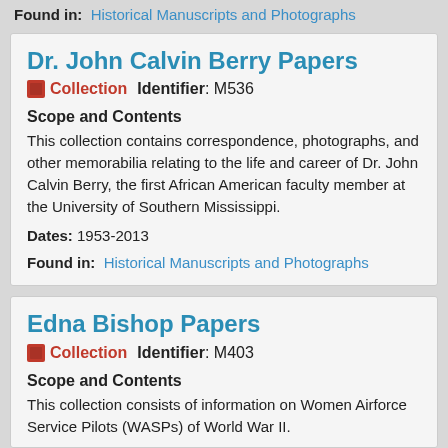Found in: Historical Manuscripts and Photographs
Dr. John Calvin Berry Papers
Collection   Identifier: M536
Scope and Contents
This collection contains correspondence, photographs, and other memorabilia relating to the life and career of Dr. John Calvin Berry, the first African American faculty member at the University of Southern Mississippi.
Dates: 1953-2013
Found in: Historical Manuscripts and Photographs
Edna Bishop Papers
Collection   Identifier: M403
Scope and Contents
This collection consists of information on Women Airforce Service Pilots (WASPs) of World War II.
Dates: (cut off)